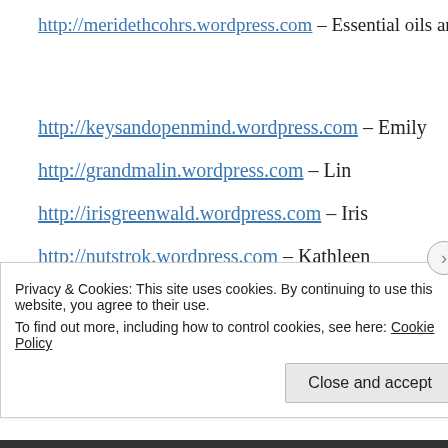http://meridethcohrs.wordpress.com – Essential oils and health
http://keysandopenmind.wordpress.com – Emily
http://grandmalin.wordpress.com – Lin
http://irisgreenwald.wordpress.com – Iris
http://nutstrok.wordpress.com – Kathleen
Privacy & Cookies: This site uses cookies. By continuing to use this website, you agree to their use. To find out more, including how to control cookies, see here: Cookie Policy